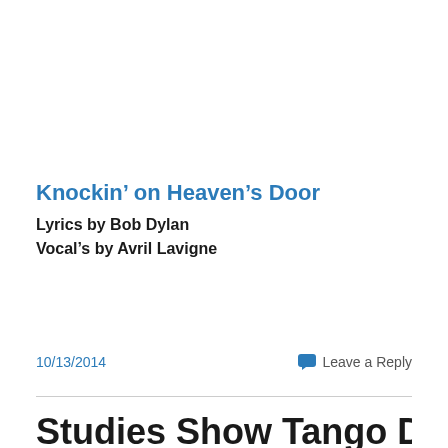Knockin’ on Heaven’s Door
Lyrics by Bob Dylan
Vocal’s by Avril Lavigne
10/13/2014
Leave a Reply
Studies Show Tango Dancing